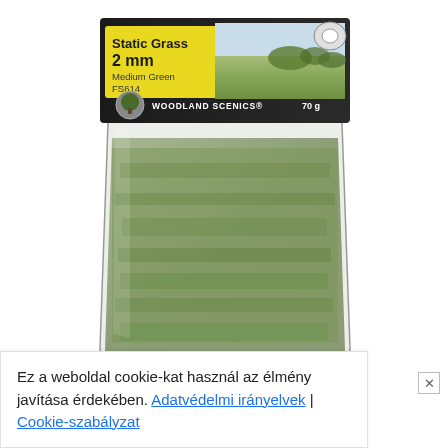[Figure (photo): Product photo of Woodland Scenics Static Grass 2mm Medium Green FS614, 70g package. The package has a black header with yellow label showing 'Static Grass 2mm Medium Green FS614', a scenic photo of a green meadow/field, the Woodland Scenics logo, and a transparent bag filled with green static grass material.]
Ez a weboldal cookie-kat használ az élmény javítása érdekében. Adatvédelmi irányelvek | Cookie-szabályzat